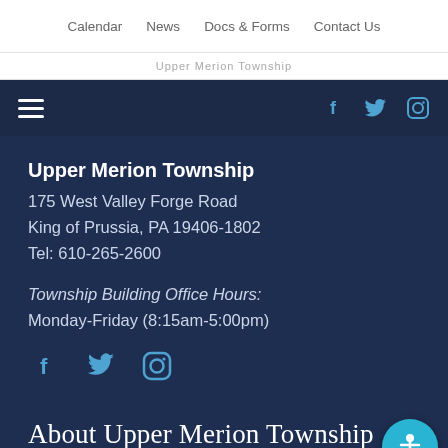Calendar  News  Docs & Forms  Contact Us
[Figure (screenshot): Upper Merion Township logo strip (partially visible)]
Hamburger menu icon and social media icons (Facebook, Twitter, Instagram) on dark navy bar
Upper Merion Township
175 West Valley Forge Road
King of Prussia, PA 19406-1802
Tel: 610-265-2600
Township Building Office Hours:
Monday-Friday (8:15am-5:00pm)
[Figure (other): Social media icons: Facebook, Twitter, Instagram]
About Upper Merion Township